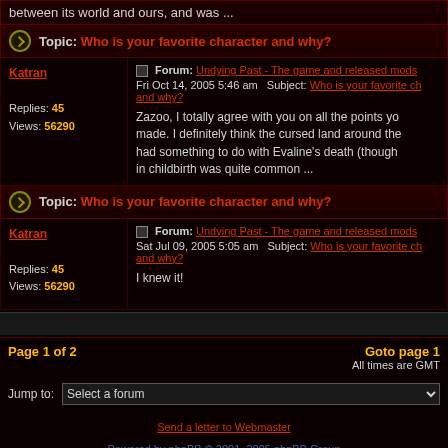between its world and ours, and was ...
Topic: Who is your favorite character and why?
Forum: Undying Past - The game and released mods
Fri Oct 14, 2005 5:46 am   Subject: Who is your favorite character and why?
Replies: 45  Views: 56290
Zazoo, I totally agree with you on all the points you made. I definitely think the cursed land around the had something to do with Evaline's death (though in childbirth was quite common ...
Topic: Who is your favorite character and why?
Forum: Undying Past - The game and released mods
Sat Jul 09, 2005 5:05 am   Subject: Who is your favorite character and why?
Replies: 45  Views: 56290
I knew it!
Page 1 of 2
Goto page 1
All times are GMT
Jump to:  Select a forum
Send a letter to Webmaster
Powered by phpBB © 2001, 2005 phpBB Group